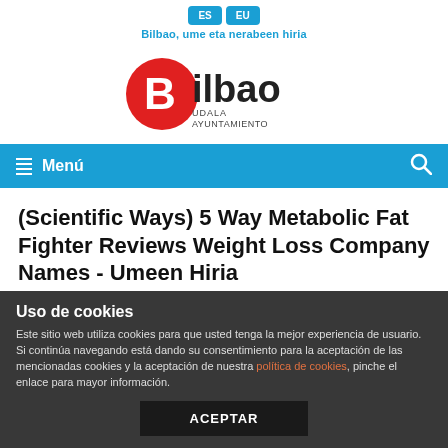[Figure (logo): Language buttons ES and EU in blue, with tagline 'Bilbao, ume eta nerabeen hiria' in blue below]
[Figure (logo): Bilbao Udala Ayuntamiento logo — red oval with white B, text 'ilbao' in dark, 'UDALA AYUNTAMIENTO' below]
Menú
(Scientific Ways) 5 Way Metabolic Fat Fighter Reviews Weight Loss Company Names - Umeen Hiria
Uso de cookies
Este sitio web utiliza cookies para que usted tenga la mejor experiencia de usuario. Si continúa navegando está dando su consentimiento para la aceptación de las mencionadas cookies y la aceptación de nuestra política de cookies, pinche el enlace para mayor información.
ACEPTAR